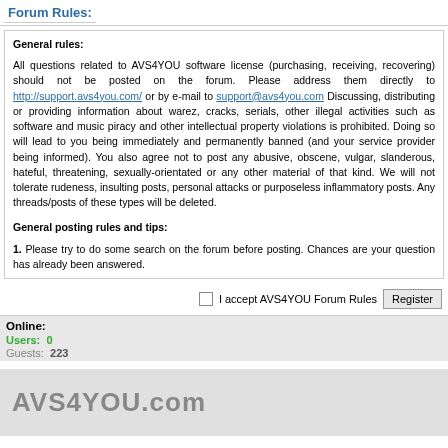Forum Rules:
General rules:

All questions related to AVS4YOU software license (purchasing, receiving, recovering) should not be posted on the forum. Please address them directly to http://support.avs4you.com/ or by e-mail to support@avs4you.com Discussing, distributing or providing information about warez, cracks, serials, other illegal activities such as software and music piracy and other intellectual property violations is prohibited. Doing so will lead to you being immediately and permanently banned (and your service provider being informed). You also agree not to post any abusive, obscene, vulgar, slanderous, hateful, threatening, sexually-orientated or any other material of that kind. We will not tolerate rudeness, insulting posts, personal attacks or purposeless inflammatory posts. Any threads/posts of these types will be deleted.

General posting rules and tips:
1. Please try to do some search on the forum before posting. Chances are your question has already been answered.
I accept AVS4YOU Forum Rules   Register
Online:
Users:  0
Guests:  223
AVS4YOU.com